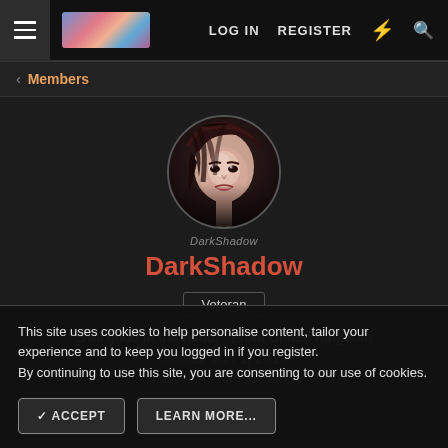LOG IN  REGISTER
< Members
[Figure (photo): Circular avatar image showing a dark-haired female character with pale skin, appearing to be from a video game or CG render]
DarkShadow
Veteran
S'all good in tha hood! · From United Kingdom
Joined: Jun 1, 2010
Last seen: Jun 13, 2011
This site uses cookies to help personalise content, tailor your experience and to keep you logged in if you register.
By continuing to use this site, you are consenting to our use of cookies.
✓ ACCEPT
LEARN MORE...